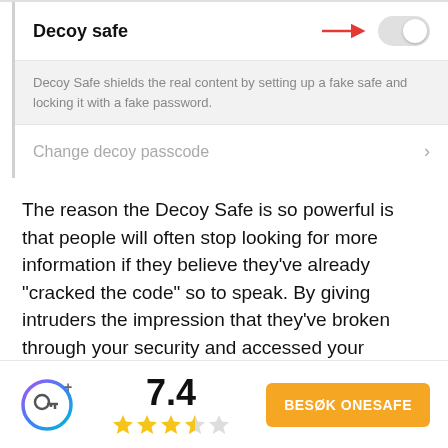Decoy safe
Decoy Safe shields the real content by setting up a fake safe and locking it with a fake password.
Change decoy passcode
The reason the Decoy Safe is so powerful is that people will often stop looking for more information if they believe they've already "cracked the code" so to speak. By giving intruders the impression that they've broken through your security and accessed your personal information, they're less likely to try to
7.4
BESØK ONESAFE